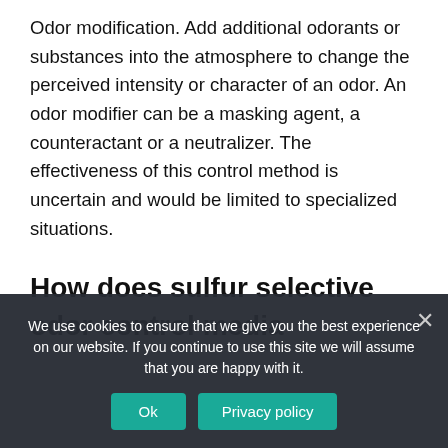Odor modification. Add additional odorants or substances into the atmosphere to change the perceived intensity or character of an odor. An odor modifier can be a masking agent, a counteractant or a neutralizer. The effectiveness of this control method is uncertain and would be limited to specialized situations.
How does sulfur selective odor control media
We use cookies to ensure that we give you the best experience on our website. If you continue to use this site we will assume that you are happy with it.